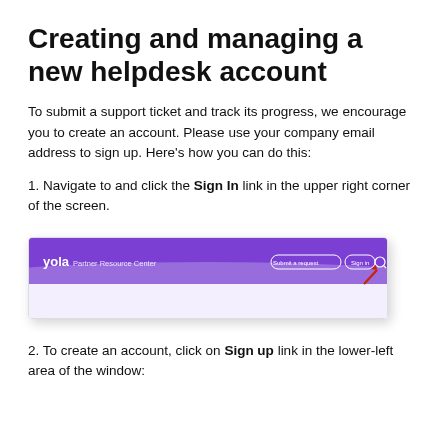Creating and managing a new helpdesk account
To submit a support ticket and track its progress, we encourage you to create an account. Please use your company email address to sign up. Here's how you can do this:
1. Navigate to and click the Sign In link in the upper right corner of the screen.
[Figure (screenshot): Screenshot of Yola Partner Resource Center navigation bar with purple background, showing 'Submit a request' and 'Sign in' buttons in the upper right, with a red arrow pointing to the Sign In button.]
2. To create an account, click on Sign up link in the lower-left area of the window: